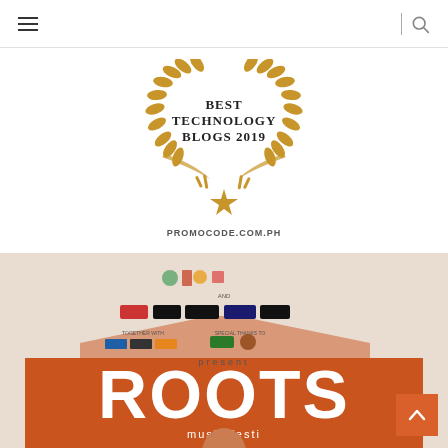Navigation header with hamburger menu and search icon
[Figure (logo): Best Technology Blogs 2019 laurel wreath badge with star, text reads BEST TECHNOLOGY BLOGS 2019 and PROMOCODE.COM.PH]
[Figure (photo): Promotional poster for ROOTS music festival showing logos of sponsors and the word ROOTS in large white text on orange background with a person's face partially visible at the bottom]